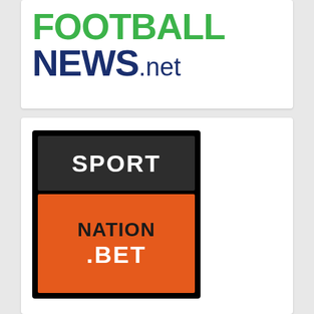[Figure (logo): FootballNews.net logo with FOOTBALL in green bold text and NEWS in dark navy bold text followed by .net in smaller navy text]
[Figure (logo): SportNation.bet logo with dark background, SPORT in white text on dark grey banner, and NATION.BET in black and white text on orange background]